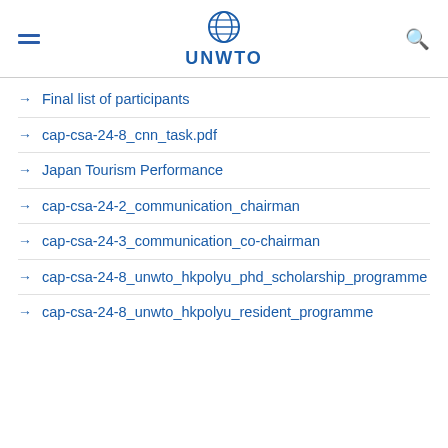UNWTO
Final list of participants
cap-csa-24-8_cnn_task.pdf
Japan Tourism Performance
cap-csa-24-2_communication_chairman
cap-csa-24-3_communication_co-chairman
cap-csa-24-8_unwto_hkpolyu_phd_scholarship_programme
cap-csa-24-8_unwto_hkpolyu_resident_programme